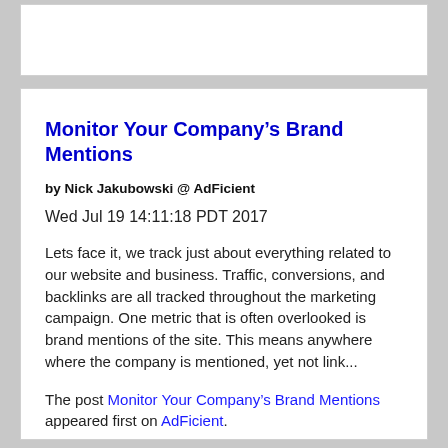Monitor Your Company's Brand Mentions
by Nick Jakubowski @ AdFicient
Wed Jul 19 14:11:18 PDT 2017
Lets face it, we track just about everything related to our website and business. Traffic, conversions, and backlinks are all tracked throughout the marketing campaign. One metric that is often overlooked is brand mentions of the site. This means anywhere where the company is mentioned, yet not link...
The post Monitor Your Company's Brand Mentions appeared first on AdFicient.